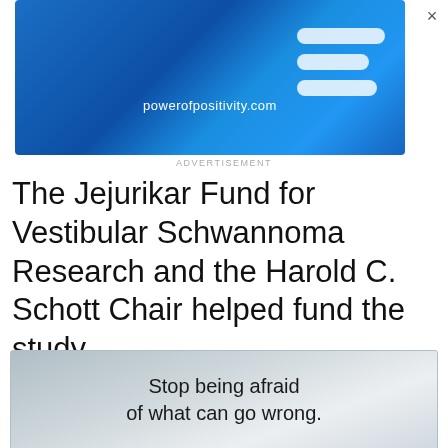[Figure (screenshot): Blue gradient advertisement banner for powerofpositivity.com with logo lines on right side and a close (×) button]
ADVERTISEMENT
The Jejurikar Fund for Vestibular Schwannoma Research and the Harold C. Schott Chair helped fund the study.
[Figure (screenshot): Gray-blue gradient advertisement image with text: Stop being afraid of what can go wrong.]